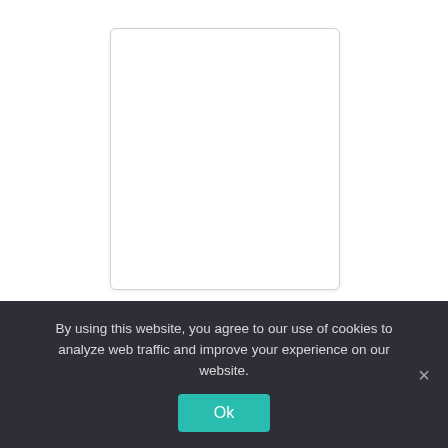[Figure (other): White rectangular placeholder image with light border and subtle shadow]
Providing False Information – Directed toward an applicant who entered misleading information on their rental application
By using this website, you agree to our use of cookies to analyze web traffic and improve your experience on our website.
Ok ×